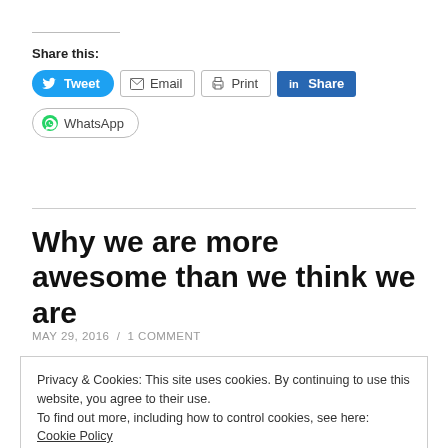Share this:
[Figure (other): Social sharing buttons: Tweet, Email, Print, Share (LinkedIn), WhatsApp]
Why we are more awesome than we think we are
MAY 29, 2016 / 1 COMMENT
Privacy & Cookies: This site uses cookies. By continuing to use this website, you agree to their use.
To find out more, including how to control cookies, see here: Cookie Policy